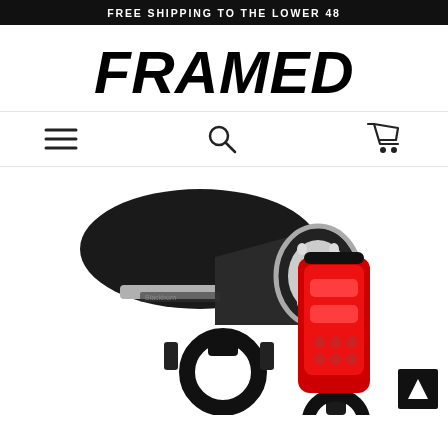FREE SHIPPING TO THE LOWER 48
FRAMED
[Figure (illustration): Navigation icons: hamburger menu, search magnifying glass, shopping cart]
[Figure (photo): Two Blackburn bicycle lights: a black front headlight and a red rear tail light, both with mounting brackets]